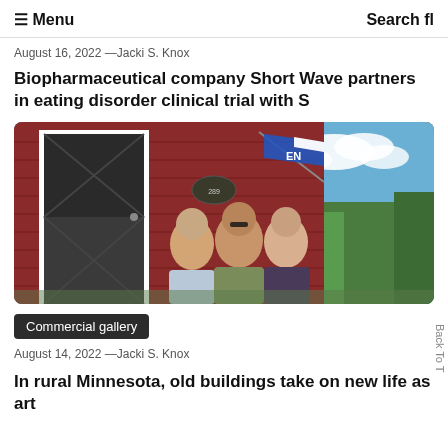☰ Menu    Search fl
August 16, 2022 —Jacki S. Knox
Biopharmaceutical company Short Wave partners in eating disorder clinical trial with S
[Figure (photo): Three women smiling in front of a red barn with a blue and white 'OPEN' flag and green trees in the background on a sunny day.]
Commercial gallery
August 14, 2022 —Jacki S. Knox
In rural Minnesota, old buildings take on new life as art